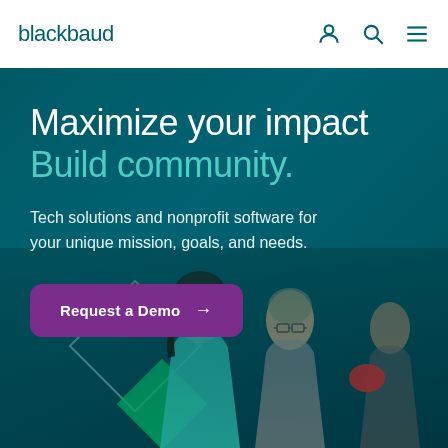blackbaud
Maximize your impact
Build community.
Tech solutions and nonprofit software for your unique mission, goals, and needs.
Request a Demo →
[Figure (photo): Two women looking upward outdoors, one in teal shirt, one wearing glasses, with a person in red gloves visible at right edge. Background shows trees and sky. Diamond geometric shapes overlaid at bottom left.]